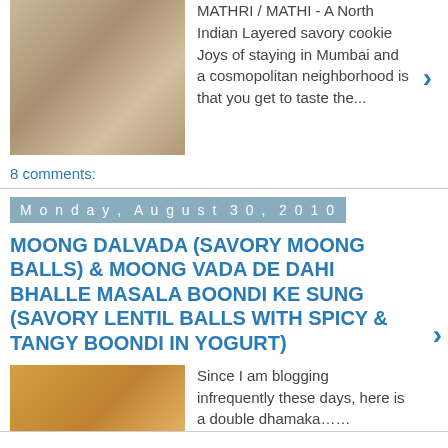MATHRI / MATHI - A North Indian Layered savory cookie Joys of staying in Mumbai and a cosmopolitan neighborhood is that you get to taste the...
8 comments:
Monday, August 30, 2010
MOONG DALVADA (SAVORY MOONG BALLS) & MOONG VADA DE DAHI BHALLE MASALA BOONDI KE SUNG (SAVORY LENTIL BALLS WITH SPICY & TANGY BOONDI IN YOGURT)
Since I am blogging infrequently these days, here is a double dhamaka....... MOONG DALVADA (SAVORY MOONG BALLS) Moong dal vada - the vada with a ...
4 comments: